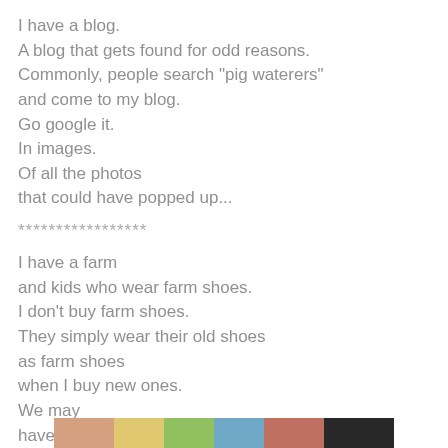I have a blog.
A blog that gets found for odd reasons.
Commonly, people search "pig waterers"
and come to my blog.
Go google it.
In images.
Of all the photos
that could have popped up...
*****************
I have a farm
and kids who wear farm shoes.
I don't buy farm shoes.
They simply wear their old shoes
as farm shoes
when I buy new ones.
We may
have to rethink
that plan.
[Figure (photo): Partial photo strip visible at the bottom of the page showing colorful outdoor scene]